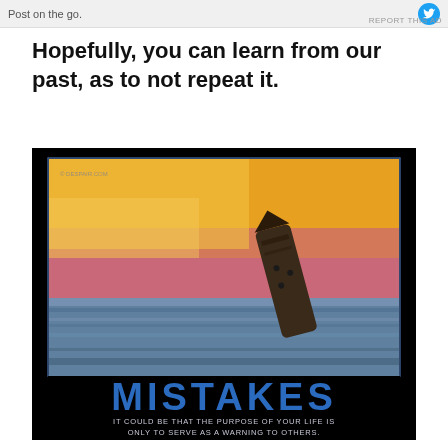Post on the go. REPORT THIS AD
Hopefully, you can learn from our past, as to not repeat it.
[Figure (photo): Motivational poster from despair.com showing a sinking ship at sunset. The ship is tilted nearly vertical, going under the ocean water. Sky shows warm yellow and pink sunset colors. Below the photo in large blue letters: MISTAKES. Subtitle text reads: It Could Be That the Purpose of Your Life Is Only to Serve as a Warning to Others.]